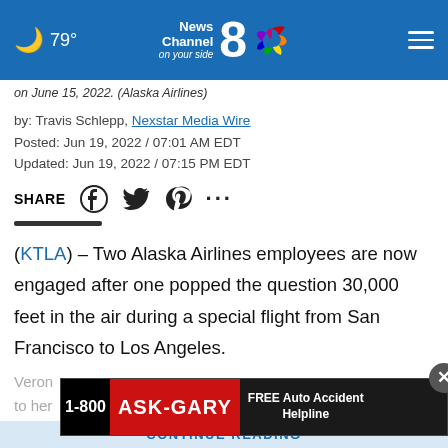News Channel 8 on your side — 79°
on June 15, 2022. (Alaska Airlines)
by: Travis Schlepp, Nexstar Media Wire
Posted: Jun 19, 2022 / 07:01 AM EDT
Updated: Jun 19, 2022 / 07:15 PM EDT
SHARE
(KTLA) – Two Alaska Airlines employees are now engaged after one popped the question 30,000 feet in the air during a special flight from San Francisco to Los Angeles.
Veron... proposed to her... me
[Figure (other): 1-800 ASK-GARY advertisement banner with FREE Auto Accident Helpline]